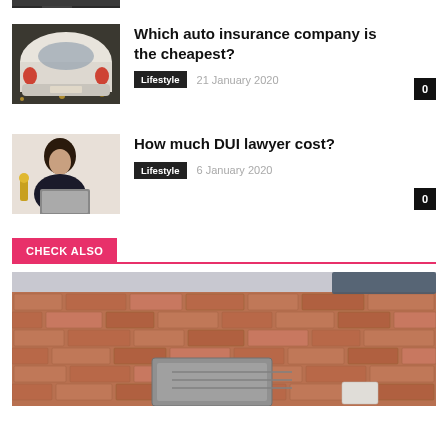[Figure (photo): Top cropped car image strip]
[Figure (photo): White Volkswagen Beetle rear view with autumn leaves on ground]
Which auto insurance company is the cheapest?
Lifestyle  21 January 2020
[Figure (photo): Woman with dark curly hair working on a laptop, gold statuette beside her]
How much DUI lawyer cost?
Lifestyle  6 January 2020
CHECK ALSO
[Figure (photo): Metal box or equipment against a brick wall background]